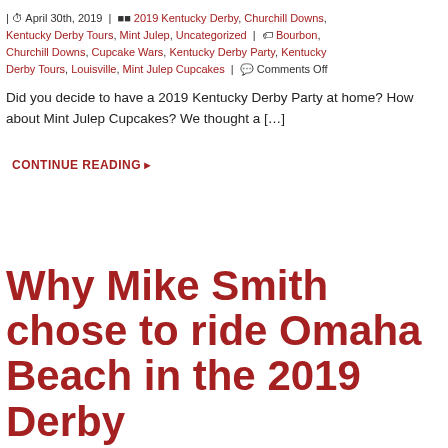| April 30th, 2019 | 2019 Kentucky Derby, Churchill Downs, Kentucky Derby Tours, Mint Julep, Uncategorized | Bourbon, Churchill Downs, Cupcake Wars, Kentucky Derby Party, Kentucky Derby Tours, Louisville, Mint Julep Cupcakes | Comments Off
Did you decide to have a 2019 Kentucky Derby Party at home? How about Mint Julep Cupcakes? We thought a […]
CONTINUE READING
Why Mike Smith chose to ride Omaha Beach in the 2019 Derby